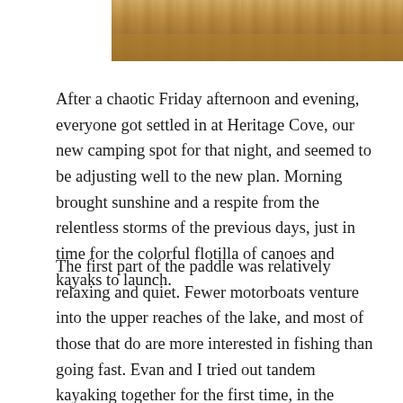[Figure (photo): Partial view of a water scene, showing rippled water surface with warm brown and golden tones, likely a lake or river.]
After a chaotic Friday afternoon and evening, everyone got settled in at Heritage Cove, our new camping spot for that night, and seemed to be adjusting well to the new plan. Morning brought sunshine and a respite from the relentless storms of the previous days, just in time for the colorful flotilla of canoes and kayaks to launch.
The first part of the paddle was relatively relaxing and quiet. Fewer motorboats venture into the upper reaches of the lake, and most of those that do are more interested in fishing than going fast. Evan and I tried out tandem kayaking together for the first time, in the Current Designs Double Vision, a new boat in stock at the shop. We saw multiple great-blue herons along shore, and later in the day, spied a bald eagle flying along Terrace Mountain on the eastern side of the lake.